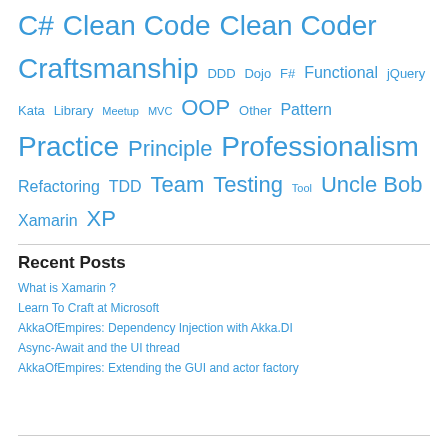C# Clean Code Clean Coder Craftsmanship DDD Dojo F# Functional jQuery Kata Library Meetup MVC OOP Other Pattern Practice Principle Professionalism Refactoring TDD Team Testing Tool Uncle Bob Xamarin XP
Recent Posts
What is Xamarin ?
Learn To Craft at Microsoft
AkkaOfEmpires: Dependency Injection with Akka.DI
Async-Await and the UI thread
AkkaOfEmpires: Extending the GUI and actor factory